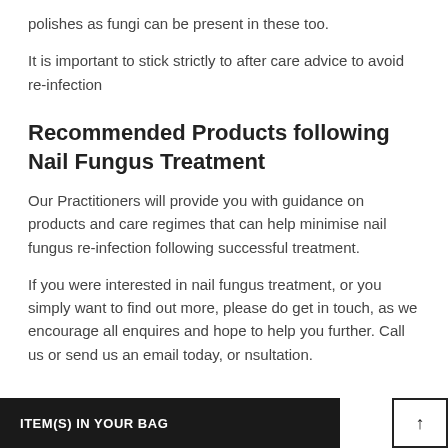polishes as fungi can be present in these too.
It is important to stick strictly to after care advice to avoid re-infection
Recommended Products following Nail Fungus Treatment
Our Practitioners will provide you with guidance on products and care regimes that can help minimise nail fungus re-infection following successful treatment.
If you were interested in nail fungus treatment, or you simply want to find out more, please do get in touch, as we encourage all enquires and hope to help you further. Call us or send us an email today, or nsultation.
ITEM(S) IN YOUR BAG